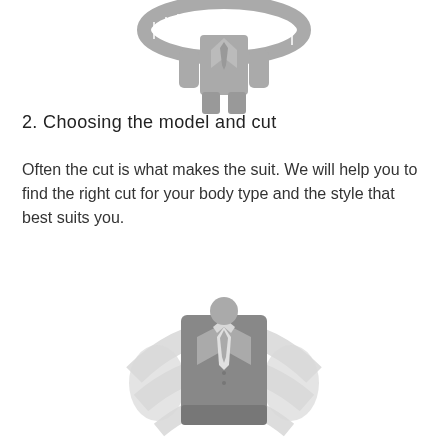[Figure (illustration): Gray icon of a person in a suit being measured with a tailor's tape measure, viewed from front, partially cropped at top]
2. Choosing the model and cut
Often the cut is what makes the suit. We will help you to find the right cut for your body type and the style that best suits you.
[Figure (illustration): Gray icon of a suit jacket with lapels and tie, shown from front with circular light gray backdrop suggesting a sphere or globe behind it]